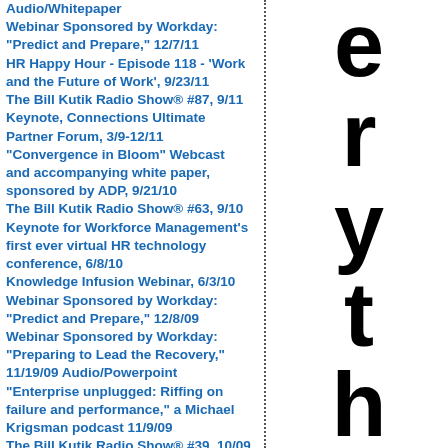Audio/Whitepaper
Webinar Sponsored by Workday: "Predict and Prepare," 12/7/11
HR Happy Hour - Episode 118 - 'Work and the Future of Work', 9/23/11
The Bill Kutik Radio Show® #87, 9/11
Keynote, Connections Ultimate Partner Forum, 3/9-12/11
"Convergence in Bloom" Webcast and accompanying white paper, sponsored by ADP, 9/21/10
The Bill Kutik Radio Show® #63, 9/10
Keynote for Workforce Management's first ever virtual HR technology conference, 6/8/10
Knowledge Infusion Webinar, 6/3/10
Webinar Sponsored by Workday: "Predict and Prepare," 12/8/09
Webinar Sponsored by Workday: "Preparing to Lead the Recovery," 11/19/09 Audio/Powerpoint
"Enterprise unplugged: Riffing on failure and performance," a Michael Krigsman podcast 11/9/09
The Bill Kutik Radio Show® #39, 10/09
Workday SOR Webinar, 8/25/09
The Bill Kutik Radio Show® #15, 10/08
[Figure (other): Large letters spelling out 'erthinglEs' arranged vertically in the right column, black bold text]